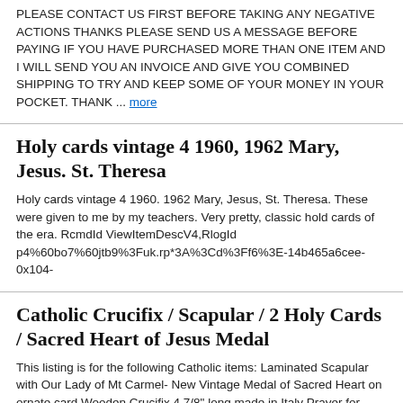PLEASE CONTACT US FIRST BEFORE TAKING ANY NEGATIVE ACTIONS THANKS PLEASE SEND US A MESSAGE BEFORE PAYING IF YOU HAVE PURCHASED MORE THAN ONE ITEM AND I WILL SEND YOU AN INVOICE AND GIVE YOU COMBINED SHIPPING TO TRY AND KEEP SOME OF YOUR MONEY IN YOUR POCKET. THANK ... more
Holy cards vintage 4 1960, 1962 Mary, Jesus. St. Theresa
Holy cards vintage 4 1960. 1962 Mary, Jesus, St. Theresa. These were given to me by my teachers. Very pretty, classic hold cards of the era. RcmdId ViewItemDescV4,RlogId p4%60bo7%60jtb9%3Fuk.rp*3A%3Cd%3Ff6%3E-14b465a6cee-0x104-
Catholic Crucifix / Scapular / 2 Holy Cards / Sacred Heart of Jesus Medal
This listing is for the following Catholic items: Laminated Scapular with Our Lady of Mt Carmel- New Vintage Medal of Sacred Heart on ornate card Wooden Crucifix 4 7/8" long made in Italy Prayer for Peace Paper Holy Card- New Vintage Virgo Purissima Mary Paper Holy Card di,RcmdId ViewItemDescV4,RlogId p4%60bo7%60jtb9%3Fuk%601d72f%2Bishhov%3C%3Edi-14b465a6ea5-0x115-
Vintage Lot Holy Prayer Ordination Mission Cards Saint Mary Jesus Germany Italy